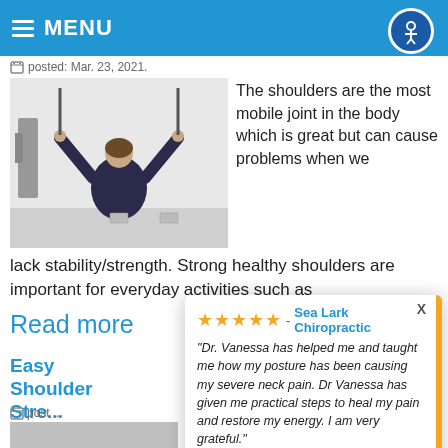MENU
posted: Mar. 23, 2021.
[Figure (photo): Person doing shoulder exercise with resistance bands, viewed from behind, in a gym setting]
The shoulders are the most mobile joint in the body which is great but can cause problems when we lack stability/strength. Strong healthy shoulders are important for everyday activities such as
Read more
Easy Shoulder Stretches
posted
[Figure (photo): Lower portion of another article image, partially visible]
★★★★★ - Sea Lark Chiropractic
"Dr. Vanessa has helped me and taught me how my posture has been causing my severe neck pain. Dr Vanessa has given me practical steps to heal my pain and restore my energy. I am very grateful."
— Robert Divo, in the last 2 weeks
by Review Wave